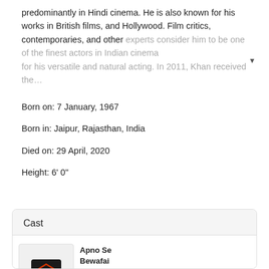predominantly in Hindi cinema. He is also known for his works in British films, and Hollywood. Film critics, contemporaries, and other experts consider him to be one of the finest actors in Indian cinema for his versatile and natural acting. In 2011, Khan received the…
Born on: 7 January, 1967
Born in: Jaipur, Rajasthan, India
Died on: 29 April, 2020
Height: 6' 0"
Cast
Apno Se Bewafai
Hindi • TBA
Actor
Bichde Sabhi Bari Bari
Hindi • TBA
Actor
Divine Lovers
Hindi • TBA
Actor
Dubai Return
Hindi • TBA
Actor